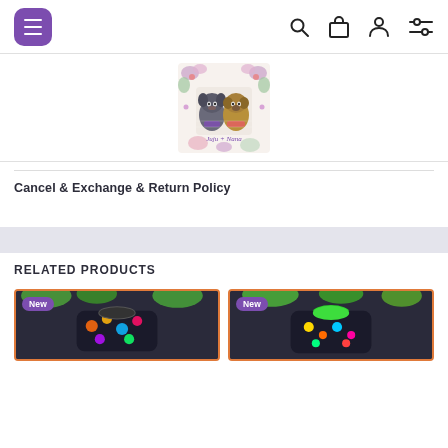Navigation bar with menu, search, bag, user, and filter icons
[Figure (logo): Juju + Nana brand logo featuring two dogs (French Bulldog and Pug) surrounded by floral watercolor illustration]
Cancel & Exchange & Return Policy
RELATED PRODUCTS
[Figure (photo): Product photo with New badge, colorful dog clothing item, orange border]
[Figure (photo): Product photo with New badge, colorful dog clothing item, orange border]